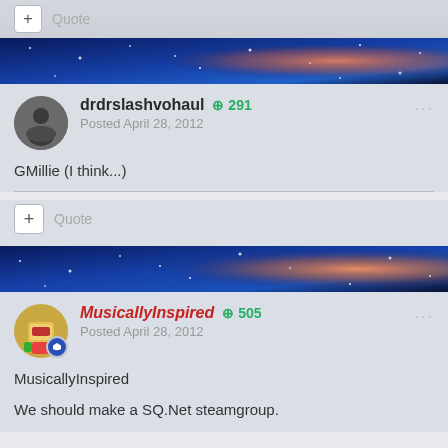Quote
drdrslashvohaul  +291  Posted April 28, 2012
GMillie  (I think...)
Quote
MusicallyInspired  +505  Posted April 28, 2012
MusicallyInspired
We should make a SQ.Net steamgroup.